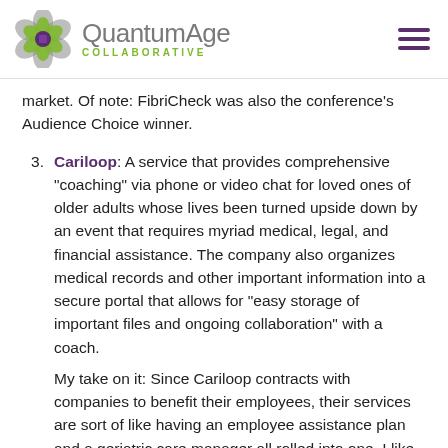QuantumAge COLLABORATIVE
market. Of note: FibriCheck was also the conference’s Audience Choice winner.
Cariloop: A service that provides comprehensive “coaching” via phone or video chat for loved ones of older adults whose lives been turned upside down by an event that requires myriad medical, legal, and financial assistance. The company also organizes medical records and other important information into a secure portal that allows for “easy storage of important files and ongoing collaboration” with a coach.
My take on it: Since Cariloop contracts with companies to benefit their employees, their services are sort of like having an employee assistance plan and a geriatric care manager all rolled into one. I like this no-wrong-door